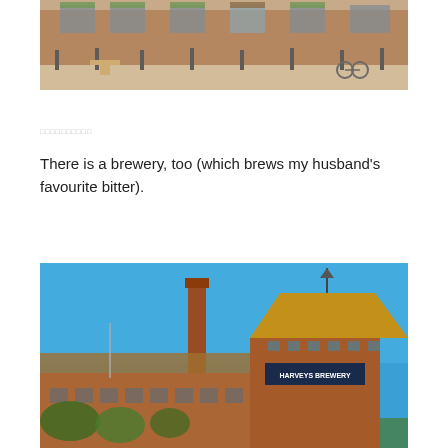[Figure (photo): Street scene with brick buildings, outdoor seating, bicycles, and sunny day]
□□□□□□□□□□
There is a brewery, too (which brews my husband's favourite bitter).
[Figure (photo): Harvey's Brewery building with tall chimney stack against blue sky, Victorian architecture with brewery signage]